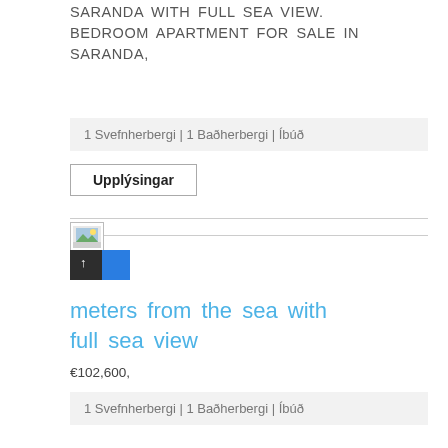SARANDA WITH FULL SEA VIEW. BEDROOM APARTMENT FOR SALE IN SARANDA,
1 Svefnherbergi | 1 Baðherbergi | Íbúð
Upplýsingar
[Figure (photo): Broken/placeholder image icon with dark background and blue panel]
meters from the sea with full sea view
€102,600,
1 Svefnherbergi | 1 Baðherbergi | Íbúð